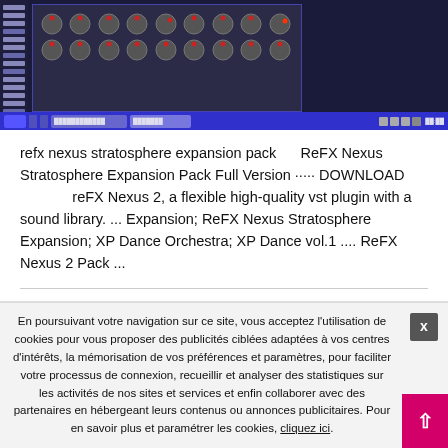[Figure (screenshot): Screenshot of a music production software (synthesizer plugin) in a dark-themed DAW interface on Windows]
refx nexus stratosphere expansion pack    ReFX Nexus Stratosphere Expansion Pack Full Version ····· DOWNLOAD
             reFX Nexus 2, a flexible high-quality vst plugin with a sound library. ... Expansion; ReFX Nexus Stratosphere Expansion; XP Dance Orchestra; XP Dance vol.1 .... ReFX Nexus 2 Pack ...
Adobe Director 12 Crack perkbetha
Par kpeptooconfizz   26 août 2020   dans : Non classé
En poursuivant votre navigation sur ce site, vous acceptez l'utilisation de cookies pour vous proposer des publicités ciblées adaptées à vos centres d'intérêts, la mémorisation de vos préférences et paramètres, pour faciliter votre processus de connexion, recueillir et analyser des statistiques sur les activités de nos sites et services et enfin collaborer avec des partenaires en hébergeant leurs contenus ou annonces publicitaires. Pour en savoir plus et paramétrer les cookies, cliquez ici.